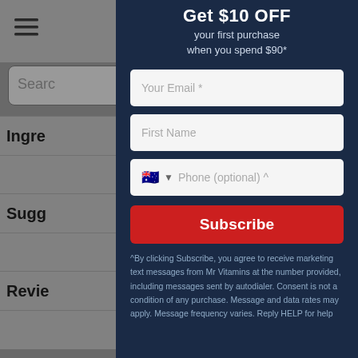[Figure (screenshot): Website background showing top navigation bar with hamburger menu, user icon, cart icon, search bar, and expandable section rows for Ingredients, Suggestions, and Reviews — partially visible behind a modal overlay]
Get $10 OFF
your first purchase
when you spend $90*
Your Email *
First Name
Phone (optional) ^
Subscribe
^By clicking Subscribe, you agree to receive marketing text messages from Mr Vitamins at the number provided, including messages sent by autodialer. Consent is not a condition of any purchase. Message and data rates may apply. Message frequency varies. Reply HELP for help